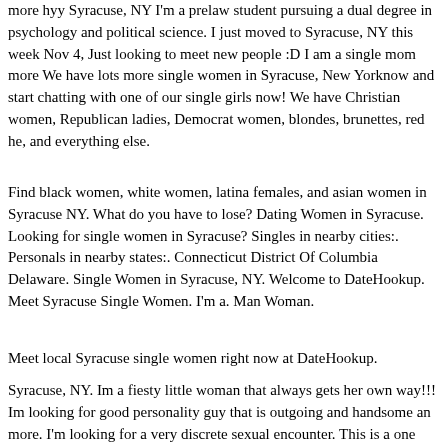more hyy Syracuse, NY I'm a prelaw student pursuing a dual degree in psychology and political science. I just moved to Syracuse, NY this week Nov 4, Just looking to meet new people :D I am a single mom more We have lots more single women in Syracuse, New Yorknow and start chatting with one of our single girls now! We have Christian women, Republican ladies, Democrat women, blondes, brunettes, red he, and everything else.
Find black women, white women, latina females, and asian women in Syracuse NY. What do you have to lose? Dating Women in Syracuse. Looking for single women in Syracuse? Singles in nearby cities:. Personals in nearby states:. Connecticut District Of Columbia Delaware. Single Women in Syracuse, NY. Welcome to DateHookup. Meet Syracuse Single Women. I'm a. Man Woman.
Meet local Syracuse single women right now at DateHookup.
Syracuse, NY. Im a fiesty little woman that always gets her own way!!! Im looking for good personality guy that is outgoing and handsome an more. I'm looking for a very discrete sexual encounter. This is a one time thing with just one man and so I am being very picky bec more. Im looking for a nice caring man. My